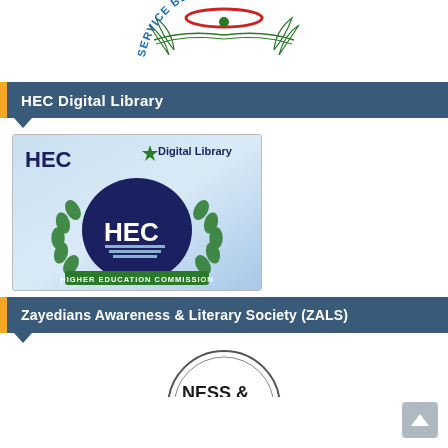[Figure (logo): Circular emblem/crest with text 'SERVICE BEFORE SELF' in blue arc at bottom, decorative elements in green and red, partially cropped at top]
HEC Digital Library
[Figure (logo): HEC Digital Library logo showing the Higher Education Commission emblem with 'HEC' and 'Digital Library' text, green wreath, crescent and star, and 'HIGHER EDUCATION COMMISSION' banner on light blue background]
Zayedians Awareness & Literary Society (ZALS)
[Figure (logo): Circular logo partially visible at bottom, showing 'NESS &' text, partially cropped]